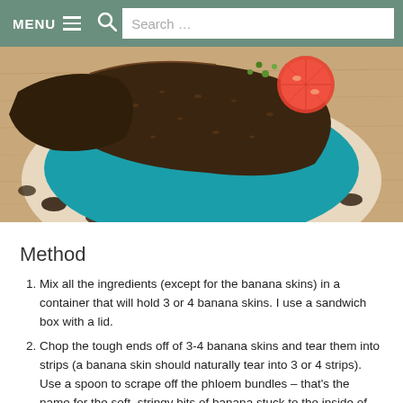MENU  Search ...
[Figure (photo): A ceramic plate with blue interior holding dark rye or seeded toast bread topped with a tomato slice and greens, placed on a wooden surface.]
Method
Mix all the ingredients (except for the banana skins) in a container that will hold 3 or 4 banana skins. I use a sandwich box with a lid.
Chop the tough ends off of 3-4 banana skins and tear them into strips (a banana skin should naturally tear into 3 or 4 strips). Use a spoon to scrape off the phloem bundles – that's the name for the soft, stringy bits of banana stuck to the inside of the skins. These can be added to smoothies or